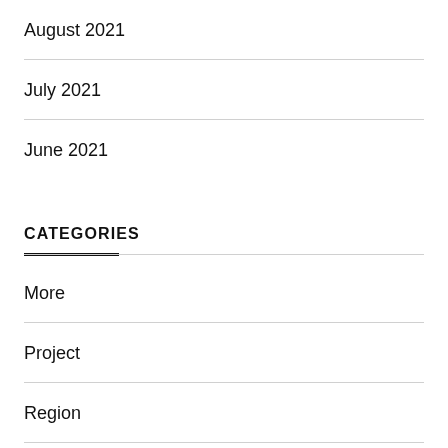August 2021
July 2021
June 2021
CATEGORIES
More
Project
Region
Service